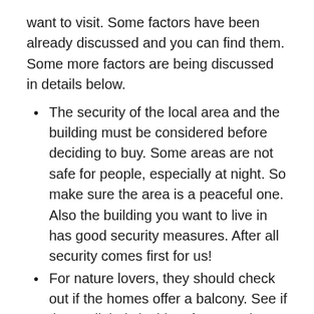want to visit. Some factors have been already discussed and you can find them. Some more factors are being discussed in details below.
The security of the local area and the building must be considered before deciding to buy. Some areas are not safe for people, especially at night. So make sure the area is a peaceful one. Also the building you want to live in has good security measures. After all security comes first for us!
For nature lovers, they should check out if the homes offer a balcony. See if the sunlight is incident for some hours. Is the home airy? What about the pollution factor? Is the building